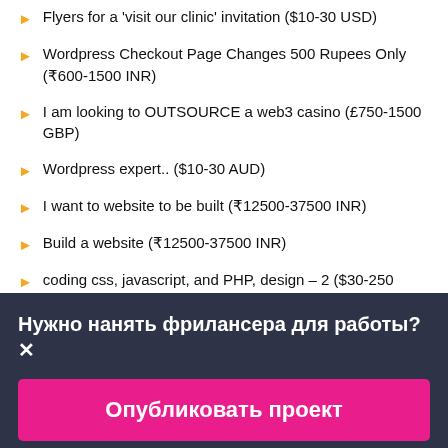Flyers for a 'visit our clinic' invitation ($10-30 USD)
Wordpress Checkout Page Changes 500 Rupees Only (₹600-1500 INR)
I am looking to OUTSOURCE a web3 casino (£750-1500 GBP)
Wordpress expert.. ($10-30 AUD)
I want to website to be built (₹12500-37500 INR)
Build a website (₹12500-37500 INR)
coding css, javascript, and PHP, design – 2 ($30-250 USD)
Small website + VIDEO (€250-750 EUR)
Нужно нанять фрилансера для работы?✕
Опубликовать проект